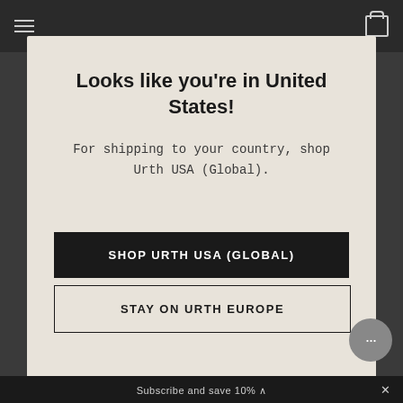Looks like you're in United States!
For shipping to your country, shop Urth USA (Global).
SHOP URTH USA (GLOBAL)
STAY ON URTH EUROPE
Subscribe and save 10%